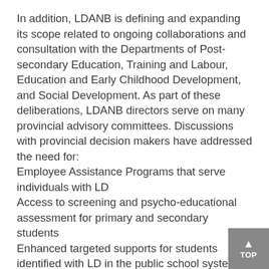In addition, LDANB is defining and expanding its scope related to ongoing collaborations and consultation with the Departments of Post-secondary Education, Training and Labour, Education and Early Childhood Development, and Social Development. As part of these deliberations, LDANB directors serve on many provincial advisory committees. Discussions with provincial decision makers have addressed the need for:
Employee Assistance Programs that serve individuals with LD
Access to screening and psycho-educational assessment for primary and secondary  students
Enhanced targeted supports for students identified with LD in the public school system
Timely access to intervention services
Linkages with Social Development in providing needed